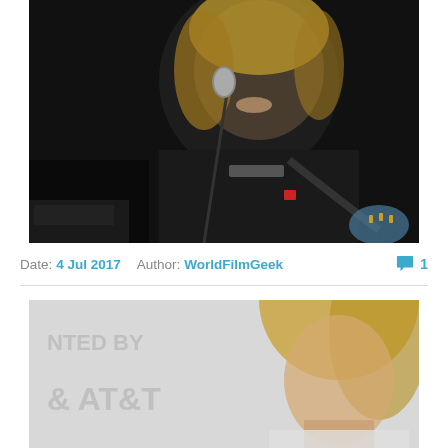[Figure (photo): A blond male musician smiling at a microphone, wearing a black shirt and playing guitar, on a dark stage background]
Date: 4 Jul 2017  Author: WorldFilmGeek  1
[Figure (photo): A blond woman at what appears to be an AT&T sponsored event, with a light background showing 'NTED BY' and 'AT&T' text]